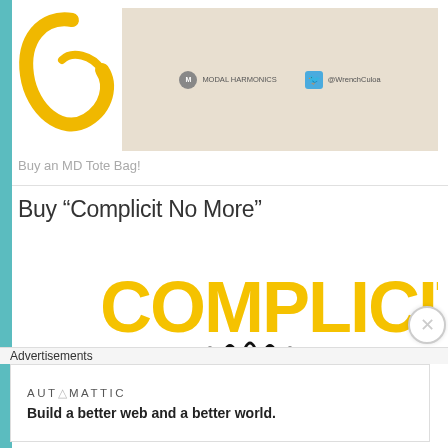[Figure (illustration): Top portion of a webpage showing a yellow cursive letter 'e' or ampersand on white background beside a beige card with social media icons (MODAL HARMONICS and @WrenchCuloa)]
Buy an MD Tote Bag!
Buy “Complicit No More”
[Figure (photo): Book cover for 'Complicit' showing large yellow bold text 'COMPLICIT' at top with illustrated black decorative elements and black-and-white photos of people's faces peeking from the bottom]
Advertisements
[Figure (screenshot): Advertisement by Automattic: logo text 'AUTOMATTIC' with tagline 'Build a better web and a better world.']